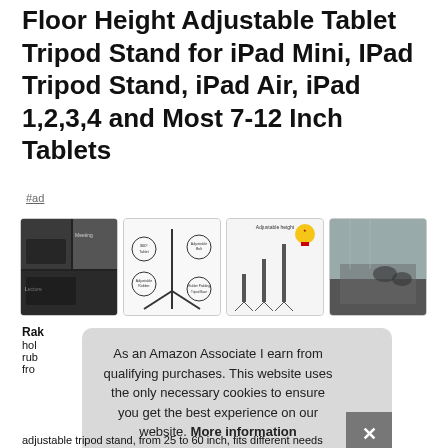Floor Height Adjustable Tablet Tripod Stand for iPad Mini, IPad Tripod Stand, iPad Air, iPad 1,2,3,4 and Most 7-12 Inch Tablets
#ad
[Figure (photo): Four product images showing tablet tripod stand in use and with callout features]
Rak… holds… rubb… from…
As an Amazon Associate I earn from qualifying purchases. This website uses the only necessary cookies to ensure you get the best experience on our website. More information
adjustable tripod stand, from 25 to 60 inch, fits different needs